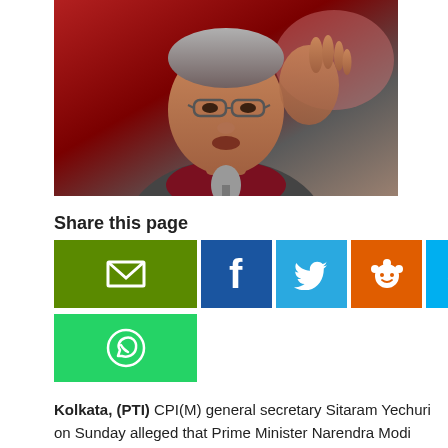[Figure (photo): Close-up photo of an elderly Indian man with glasses speaking at a microphone, with a red background, wearing a dark jacket and maroon scarf.]
Share this page
Kolkata,  (PTI) CPI(M) general secretary Sitaram Yechuri on Sunday alleged that Prime Minister Narendra Modi was resorting to manipulation of statistics to paint a rosy picture of his government's achievements.